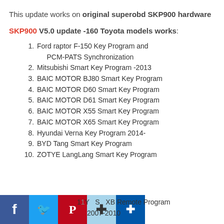This update works on original superobd SKP900 hardware
SKP900 V5.0 update -160 Toyota models works:
Ford raptor F-150 Key Program and PCM-PATS Synchronization
Mitsubishi Smart Key Program -2013
BAIC MOTOR BJ80 Smart Key Program
BAIC MOTOR D60 Smart Key Program
BAIC MOTOR D61 Smart Key Program
BAIC MOTOR X55 Smart Key Program
BAIC MOTOR X65 Smart Key Program
Hyundai Verna Key Program 2014-
BYD Tang Smart Key Program
ZOTYE LangLang Smart Key Program
1Y S XB Remote Program 2007-2010